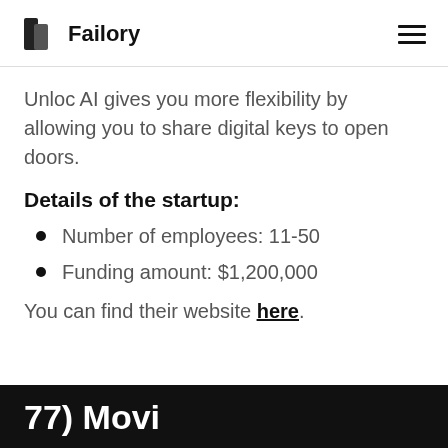Failory
Unloc AI gives you more flexibility by allowing you to share digital keys to open doors.
Details of the startup:
Number of employees: 11-50
Funding amount: $1,200,000
You can find their website here.
77) Movi